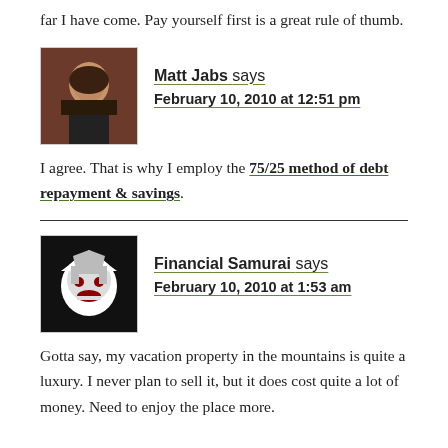far I have come. Pay yourself first is a great rule of thumb.
[Figure (photo): Headshot photo of Matt Jabs, a man in a dark shirt]
Matt Jabs says
February 10, 2010 at 12:51 pm
I agree. That is why I employ the 75/25 method of debt repayment & savings.
[Figure (photo): Avatar/logo image of Financial Samurai, a stylized samurai face in black and white]
Financial Samurai says
February 10, 2010 at 1:53 am
Gotta say, my vacation property in the mountains is quite a luxury. I never plan to sell it, but it does cost quite a lot of money. Need to enjoy the place more.